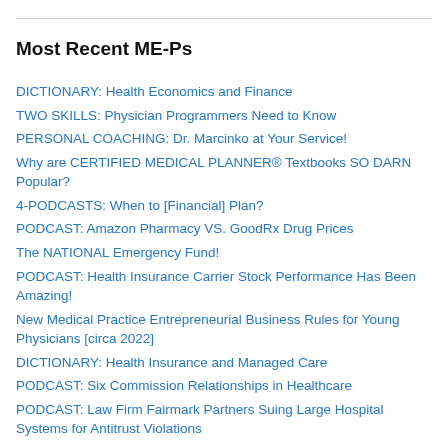Most Recent ME-Ps
DICTIONARY: Health Economics and Finance
TWO SKILLS: Physician Programmers Need to Know
PERSONAL COACHING: Dr. Marcinko at Your Service!
Why are CERTIFIED MEDICAL PLANNER® Textbooks SO DARN Popular?
4-PODCASTS: When to [Financial] Plan?
PODCAST: Amazon Pharmacy VS. GoodRx Drug Prices
The NATIONAL Emergency Fund!
PODCAST: Health Insurance Carrier Stock Performance Has Been Amazing!
New Medical Practice Entrepreneurial Business Rules for Young Physicians [circa 2022]
DICTIONARY: Health Insurance and Managed Care
PODCAST: Six Commission Relationships in Healthcare
PODCAST: Law Firm Fairmark Partners Suing Large Hospital Systems for Antitrust Violations